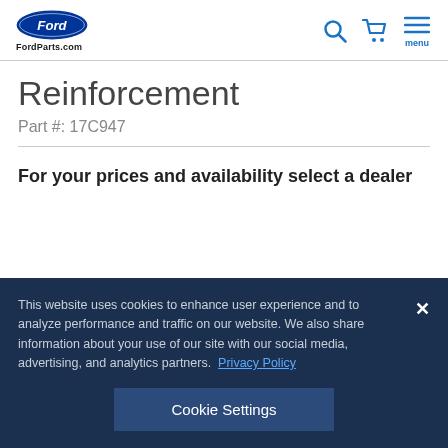FordParts.com
Reinforcement
Part #: 17C947
For your prices and availability select a dealer
This website uses cookies to enhance user experience and to analyze performance and traffic on our website. We also share information about your use of our site with our social media, advertising, and analytics partners. Privacy Policy
Cookie Settings